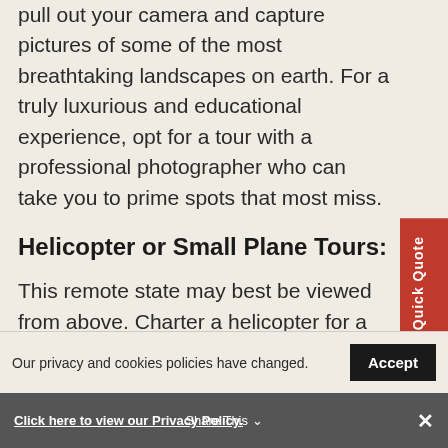pull out your camera and capture pictures of some of the most breathtaking landscapes on earth. For a truly luxurious and educational experience, opt for a tour with a professional photographer who can take you to prime spots that most miss.
Helicopter or Small Plane Tours:
This remote state may best be viewed from above. Charter a helicopter for a few hours — or even a full day — to explore the most remote regions of Alaska from the air in luxurious style. In fact, a helicopter or plane tour may be the best way to see Denali, the
Our privacy and cookies policies have changed.
Click here to view our Privacy Policy.
Share This
×